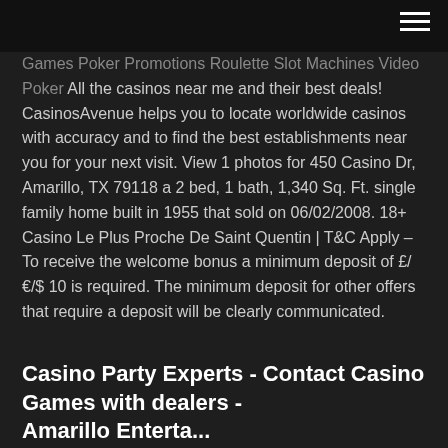Games Poker Promotions Roulette Slot Machines Video Poker All the casinos near me and their best deals! CasinosAvenue helps you to locate worldwide casinos with accuracy and to find the best establishments near you for your next visit. View 1 photos for 450 Casino Dr, Amarillo, TX 79118 a 2 bed, 1 bath, 1,340 Sq. Ft. single family home built in 1955 that sold on 06/02/2008. 18+ Casino Le Plus Proche De Saint Quentin | T&C Apply – To receive the welcome bonus a minimum deposit of £/€/$ 10 is required. The minimum deposit for other offers that require a deposit will be clearly communicated.
Casino Party Experts - Contact Casino Games with dealers - Amarillo Entertaining Party ...